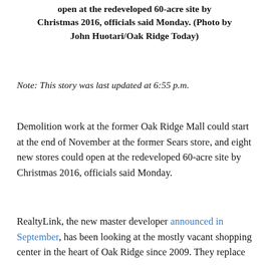open at the redeveloped 60-acre site by Christmas 2016, officials said Monday. (Photo by John Huotari/Oak Ridge Today)
Note: This story was last updated at 6:55 p.m.
Demolition work at the former Oak Ridge Mall could start at the end of November at the former Sears store, and eight new stores could open at the redeveloped 60-acre site by Christmas 2016, officials said Monday.
RealtyLink, the new master developer announced in September, has been looking at the mostly vacant shopping center in the heart of Oak Ridge since 2009. They replace